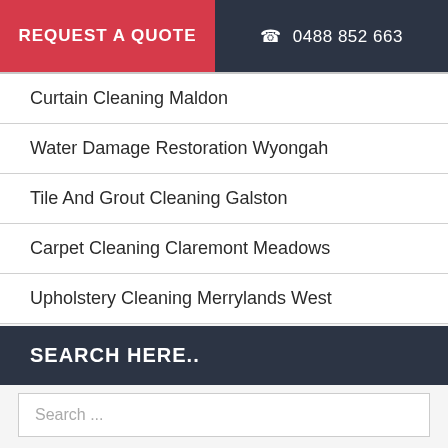REQUEST A QUOTE   ☎ 0488 852 663
Curtain Cleaning Maldon
Water Damage Restoration Wyongah
Tile And Grout Cleaning Galston
Carpet Cleaning Claremont Meadows
Upholstery Cleaning Merrylands West
SEARCH HERE..
Search ...